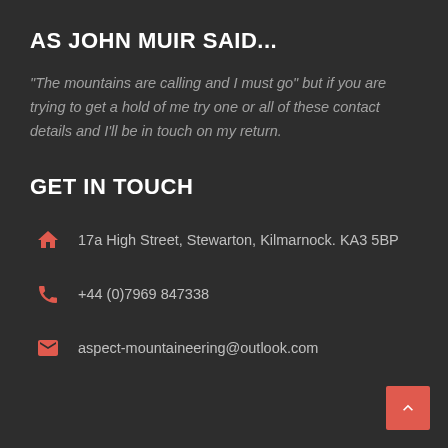AS JOHN MUIR SAID...
"The mountains are calling and I must go" but if you are trying to get a hold of me try one or all of these contact details and I'll be in touch on my return.
GET IN TOUCH
17a High Street, Stewarton, Kilmarnock. KA3 5BP
+44 (0)7969 847338
aspect-mountaineering@outlook.com